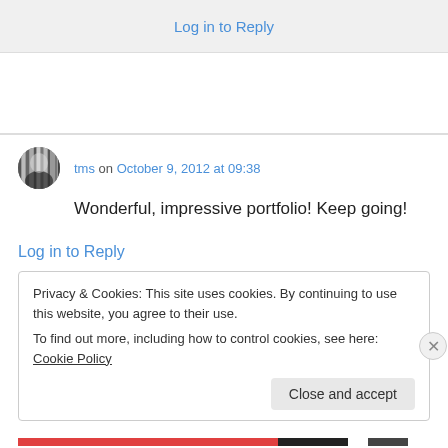Log in to Reply
tms on October 9, 2012 at 09:38
Wonderful, impressive portfolio! Keep going!
Log in to Reply
Privacy & Cookies: This site uses cookies. By continuing to use this website, you agree to their use.
To find out more, including how to control cookies, see here: Cookie Policy
Close and accept